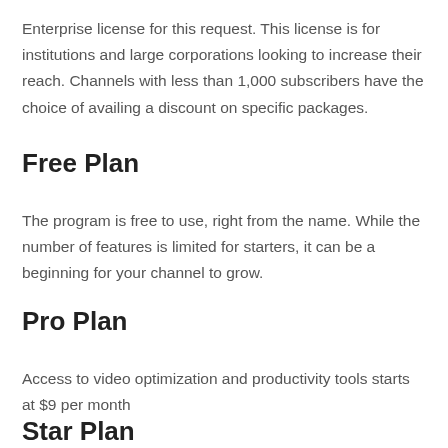Enterprise license for this request. This license is for institutions and large corporations looking to increase their reach. Channels with less than 1,000 subscribers have the choice of availing a discount on specific packages.
Free Plan
The program is free to use, right from the name. While the number of features is limited for starters, it can be a beginning for your channel to grow.
Pro Plan
Access to video optimization and productivity tools starts at $9 per month
Star Plan